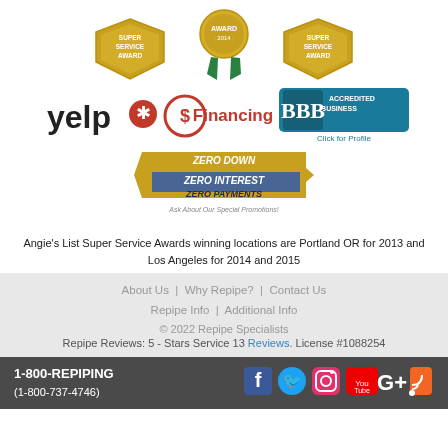[Figure (logo): Three award badges: Angie's List Super Service Award (left), a green ribbon award for 2014 (center), and another Super Service Award (right)]
[Figure (logo): Three logos: Yelp logo (left), Financing circle logo with dollar sign (center), BBB Accredited Business badge with 'Click for Profile' (right)]
[Figure (logo): Zero Down, Zero Interest, Zero Payments promotional badge with text 'Ask About Our Special Promotions']
Angie's List Super Service Awards winning locations are Portland OR for 2013 and Los Angeles for 2014 and 2015
About Us | Why Repipe? | Contact Us Repipe Info | Additional Info © 2022 Repipe Specialists Repipe Reviews: 5 - Stars Service 13 Reviews. License #1088254 1-800-REPIPING (1-800-737-4746)